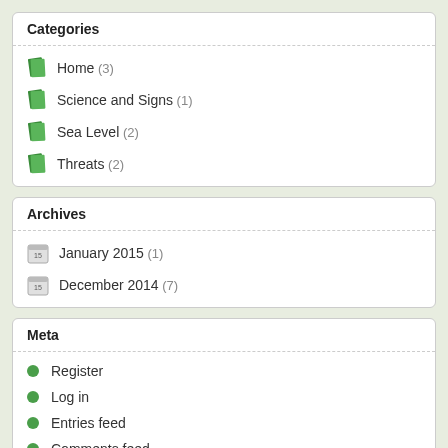Categories
Home (3)
Science and Signs (1)
Sea Level (2)
Threats (2)
Archives
January 2015 (1)
December 2014 (7)
Meta
Register
Log in
Entries feed
Comments feed
WordPress.org